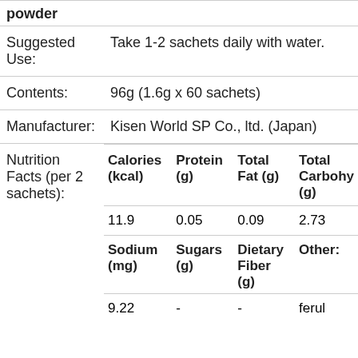| Suggested Use: | Take 1-2 sachets daily with water. |
| Contents: | 96g (1.6g x 60 sachets) |
| Manufacturer: | Kisen World SP Co., ltd. (Japan) |
| Nutrition Facts (per 2 sachets): | Calories (kcal) | Protein (g) | Total Fat (g) | Total Carbohy (g)
11.9 | 0.05 | 0.09 | 2.73
Sodium (mg) | Sugars (g) | Dietary Fiber (g) | Other:
9.22 | - | - | ferul |